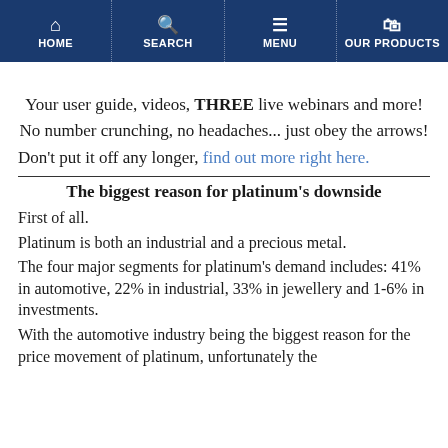HOME | SEARCH | MENU | OUR PRODUCTS
Your user guide, videos, THREE live webinars and more!
No number crunching, no headaches... just obey the arrows!
Don’t put it off any longer, find out more right here.
The biggest reason for platinum’s downside
First of all.
Platinum is both an industrial and a precious metal.
The four major segments for platinum’s demand includes: 41% in automotive, 22% in industrial, 33% in jewellery and 1-6% in investments.
With the automotive industry being the biggest reason for the price movement of platinum, unfortunately the